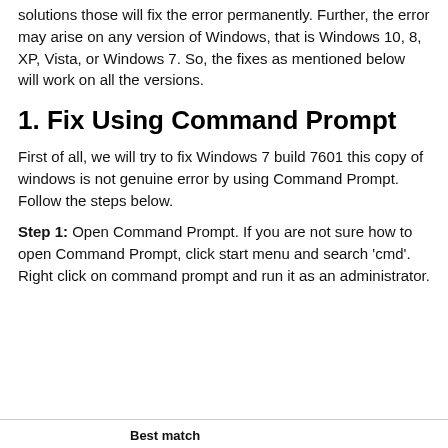solutions those will fix the error permanently. Further, the error may arise on any version of Windows, that is Windows 10, 8, XP, Vista, or Windows 7. So, the fixes as mentioned below will work on all the versions.
1. Fix Using Command Prompt
First of all, we will try to fix Windows 7 build 7601 this copy of windows is not genuine error by using Command Prompt. Follow the steps below.
Step 1: Open Command Prompt. If you are not sure how to open Command Prompt, click start menu and search ‘cmd’. Right click on command prompt and run it as an administrator.
Best match